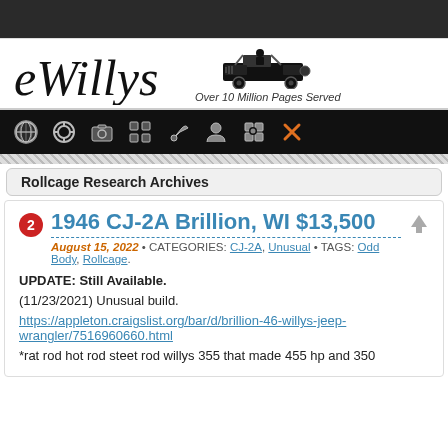[Figure (logo): eWillys website logo with cursive text 'eWillys', a Willys Jeep illustration, and tagline 'Over 10 Million Pages Served']
Rollcage Research Archives
1946 CJ-2A Brillion, WI $13,500
August 15, 2022 • CATEGORIES: CJ-2A, Unusual • TAGS: Odd Body, Rollcage.
UPDATE: Still Available.
(11/23/2021) Unusual build.
https://appleton.craigslist.org/bar/d/brillion-46-willys-jeep-wrangler/7516960660.html
*rat rod hot rod steet rod willys 355 that made 455 hp and 350